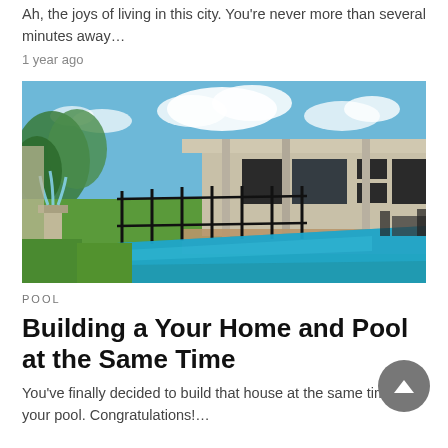Ah, the joys of living in this city. You're never more than several minutes away…
1 year ago
[Figure (photo): Outdoor swimming pool with water feature, black fence/safety barrier, modern house with flat roof and glass doors in the background, surrounded by green lawn and trees under blue sky with clouds.]
POOL
Building a Your Home and Pool at the Same Time
You've finally decided to build that house at the same time as your pool. Congratulations!…